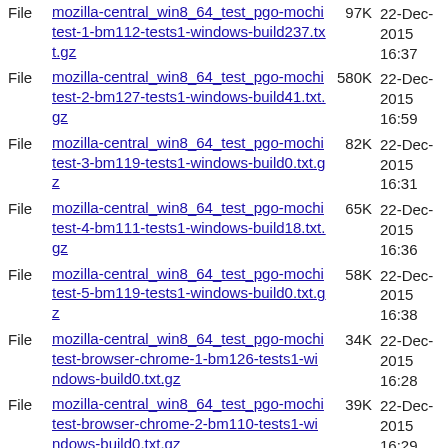File  mozilla-central_win8_64_test_pgo-mochitest-1-bm112-tests1-windows-build237.txt.gz  97K  22-Dec-2015 16:37
File  mozilla-central_win8_64_test_pgo-mochitest-2-bm127-tests1-windows-build41.txt.gz  580K  22-Dec-2015 16:59
File  mozilla-central_win8_64_test_pgo-mochitest-3-bm119-tests1-windows-build0.txt.gz  82K  22-Dec-2015 16:31
File  mozilla-central_win8_64_test_pgo-mochitest-4-bm111-tests1-windows-build18.txt.gz  65K  22-Dec-2015 16:36
File  mozilla-central_win8_64_test_pgo-mochitest-5-bm119-tests1-windows-build0.txt.gz  58K  22-Dec-2015 16:38
File  mozilla-central_win8_64_test_pgo-mochitest-browser-chrome-1-bm126-tests1-windows-build0.txt.gz  34K  22-Dec-2015 16:28
File  mozilla-central_win8_64_test_pgo-mochitest-browser-chrome-2-bm110-tests1-windows-build0.txt.gz  39K  22-Dec-2015 16:29
File  mozilla-central_win8_64_test_pgo-mochitest-browser-chrome-3-bm126-tests1-windows-build15.txt.gz  32K  22-Dec-2015 16:25